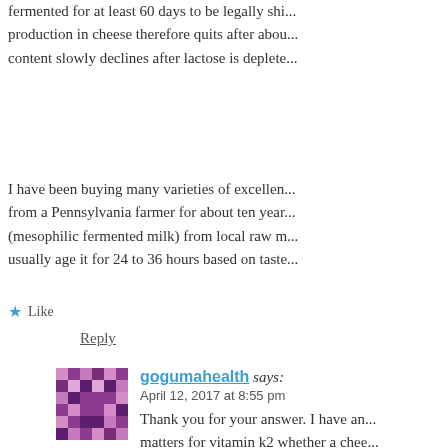fermented for at least 60 days to be legally shi... production in cheese therefore quits after abou... content slowly declines after lactose is deplete...
I have been buying many varieties of excellen... from a Pennsylvania farmer for about ten year... (mesophilic fermented milk) from local raw m... usually age it for 24 to 36 hours based on taste...
Like
Reply
gogumahealth says:
April 12, 2017 at 8:55 pm
Thank you for your answer. I have an... matters for vitamin k2 whether a chee... enzymes? The raw cheese I'm curren... vegetable enzymes.